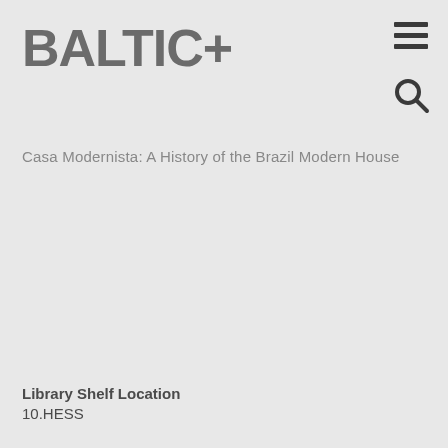BALTIC+
Casa Modernista: A History of the Brazil Modern House
Library Shelf Location
10.HESS